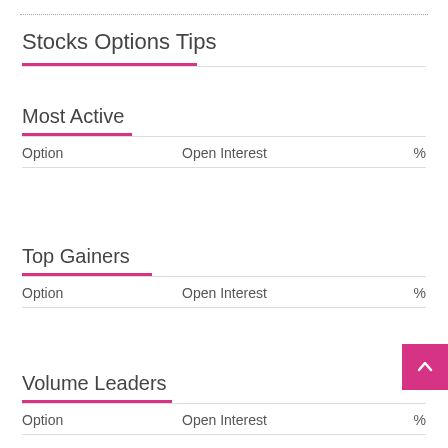Stocks Options Tips
Most Active
| Option | Open Interest | % |
| --- | --- | --- |
Top Gainers
| Option | Open Interest | % |
| --- | --- | --- |
Volume Leaders
| Option | Open Interest | % |
| --- | --- | --- |